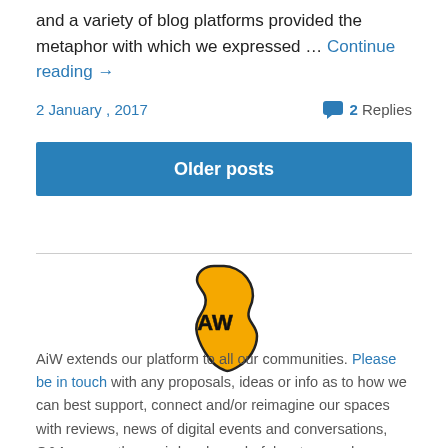and a variety of blog platforms provided the metaphor with which we expressed … Continue reading →
2 January , 2017
2 Replies
Older posts
[Figure (logo): AiW logo: Africa continent shape in gold/yellow with 'AW' letters outlined in black]
AiW extends our platform to all our communities. Please be in touch with any proposals, ideas or info as to how we can best support, connect and/or reimagine our spaces with reviews, news of digital events and conversations, Q&As, any other weird and wonderfuls, etc.s, and more…. All are welcome.